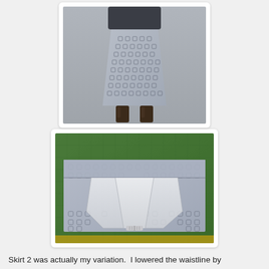[Figure (photo): A person wearing a grey patterned A-line skirt (with square/circle print) and dark knee-high boots, photographed from the waist down against a grey background.]
[Figure (photo): Close-up of the waistband and interior of a grey patterned skirt laid flat on a green cutting mat, showing a white lining/facing folded open and a zipper at the bottom center.]
Skirt 2 was actually my variation.  I lowered the waistline by